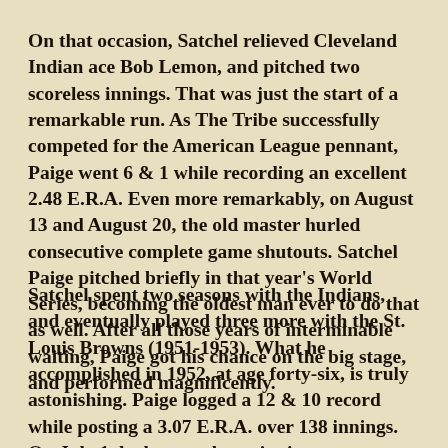On that occasion, Satchel relieved Cleveland Indian ace Bob Lemon, and pitched two scoreless innings. That was just the start of a remarkable run. As The Tribe successfully competed for the American League pennant, Paige went 6 & 1 while recording an excellent 2.48 E.R.A. Even more remarkably, on August 13 and August 20, the old master hurled consecutive complete game shutouts. Satchel Paige pitched briefly in that year's World Series, becoming the oldest man ever to do that as well. After all those years of interminable waiting, Paige got his chance on the big stage, and performed magnificently.
Satchel spent two seasons with the Indians, and eventually played three more with the St. Louis Browns (1951-1953). What he accomplished in 1952, at age forty-six, is truly astonishing. Paige logged a 12 & 10 record while posting a 3.07 E.R.A. over 138 innings. On July 1, he lost an eleven inning heartbreaker to his old teammates in Cleveland while throwing an estimated 183 pitches. Then, on August 6, Satchel did the seemingly impossible for a man of his years by vanquishing the Detroit Tigers